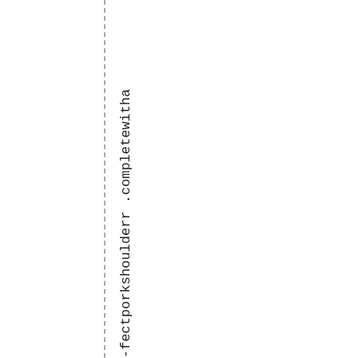-fectporkshoulderr .completewitha